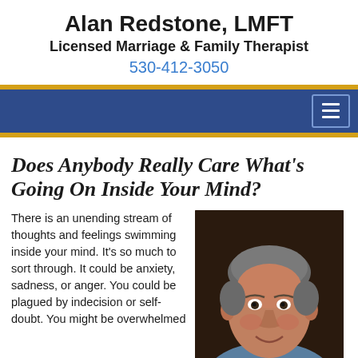Alan Redstone, LMFT
Licensed Marriage & Family Therapist
530-412-3050
[Figure (screenshot): Blue navigation bar with hamburger menu button on right]
Does Anybody Really Care What’s Going On Inside Your Mind?
There is an unending stream of thoughts and feelings swimming inside your mind. It’s so much to sort through. It could be anxiety, sadness, or anger. You could be plagued by indecision or self-doubt. You might be overwhelmed
[Figure (photo): Headshot photo of Alan Redstone, a middle-aged man with gray hair, smiling, wearing a blue shirt]